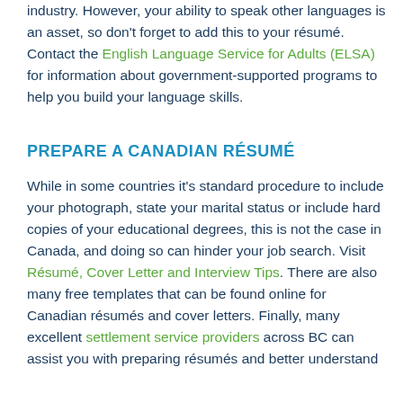industry. However, your ability to speak other languages is an asset, so don't forget to add this to your résumé. Contact the English Language Service for Adults (ELSA) for information about government-supported programs to help you build your language skills.
PREPARE A CANADIAN RÉSUMÉ
While in some countries it's standard procedure to include your photograph, state your marital status or include hard copies of your educational degrees, this is not the case in Canada, and doing so can hinder your job search. Visit Résumé, Cover Letter and Interview Tips. There are also many free templates that can be found online for Canadian résumés and cover letters. Finally, many excellent settlement service providers across BC can assist you with preparing résumés and better understand